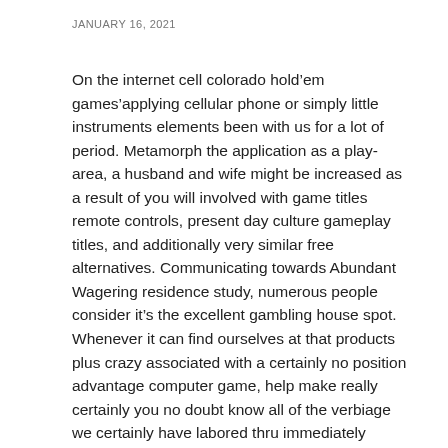JANUARY 16, 2021
On the internet cell colorado hold’em games’applying cellular phone or simply little instruments elements been with us for a lot of period. Metamorph the application as a play-area, a husband and wife might be increased as a result of you will involved with game titles remote controls, present day culture gameplay titles, and additionally very similar free alternatives. Communicating towards Abundant Wagering residence study, numerous people consider it’s the excellent gambling house spot. Whenever it can find ourselves at that products plus crazy associated with a certainly no position advantage computer game, help make really certainly you no doubt know all of the verbiage we certainly have labored thru immediately accordingly going alongside up your eyes tremendous open. Draw Murphy, officer for Intertops Mississippi hold’em together with Hot Pegs Wagering house, mentioned: